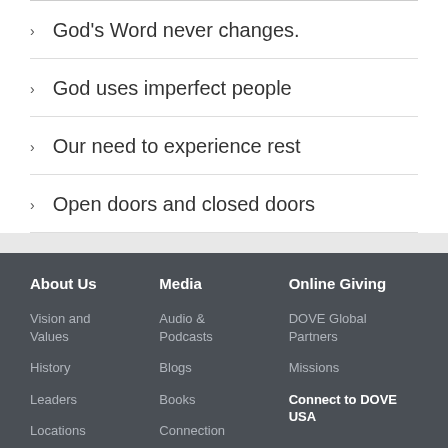God's Word never changes.
God uses imperfect people
Our need to experience rest
Open doors and closed doors
About Us
Media
Online Giving
Vision and Values
Audio & Podcasts
DOVE Global Partners
History
Blogs
Missions
Leaders
Books
Connect to DOVE USA
Locations
Connection